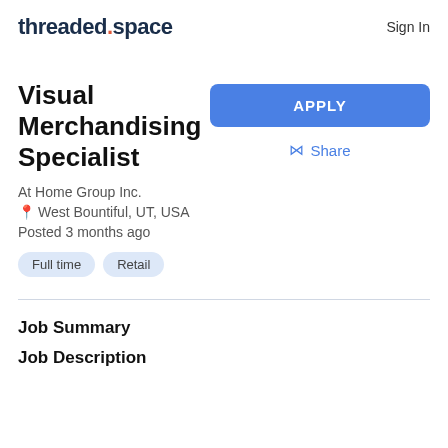threaded.space  Sign In
Visual Merchandising Specialist
At Home Group Inc.
West Bountiful, UT, USA
Posted 3 months ago
Full time
Retail
Job Summary
Job Description